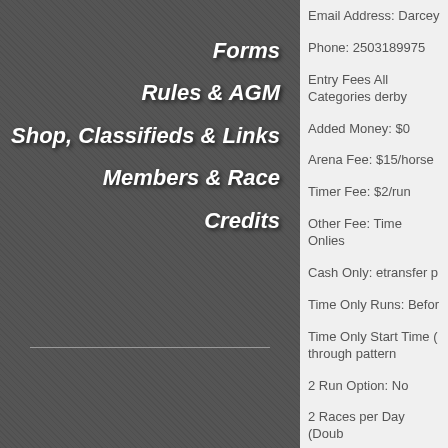Forms
Rules & AGM
Shop, Classifieds & Links
Members & Race
Credits
Email Address: Darcey
Phone: 2503189975
Entry Fees All Categories derby
Added Money: $0
Arena Fee: $15/horse
Timer Fee: $2/run
Other Fee: Time Onlies
Cash Only: etransfer p
Time Only Runs: Befor
Time Only Start Time ( through pattern
2 Run Option: No
2 Races per Day (Doub
Schooling During Race